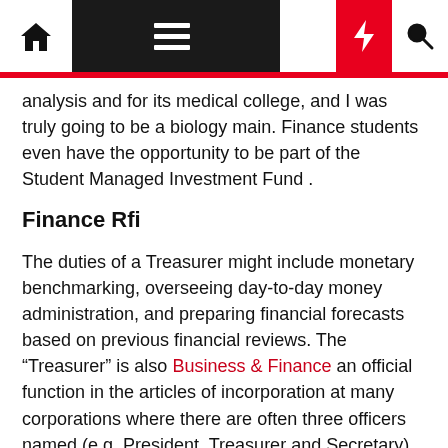[Navigation bar with home, menu, moon, bolt, search icons]
analysis and for its medical college, and I was truly going to be a biology main. Finance students even have the opportunity to be part of the Student Managed Investment Fund .
Finance Rfi
The duties of a Treasurer might include monetary benchmarking, overseeing day-to-day money administration, and preparing financial forecasts based on previous financial reviews. The “Treasurer” is also Business & Finance an official function in the articles of incorporation at many corporations where there are often three officers named (e.g. President, Treasurer and Secretary).
Communication is the key to personal and business success. So now we all together